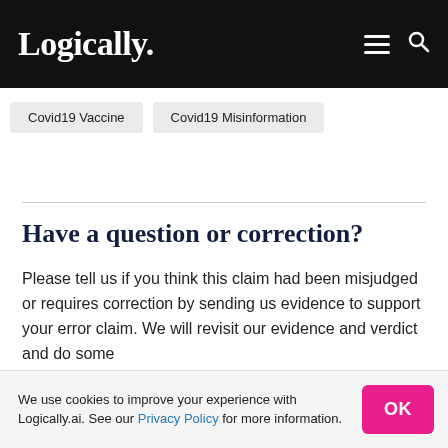Logically.
Covid19 Vaccine
Covid19 Misinformation
Have a question or correction?
Please tell us if you think this claim had been misjudged or requires correction by sending us evidence to support your error claim. We will revisit our evidence and verdict and do some
We use cookies to improve your experience with Logically.ai. See our Privacy Policy for more information.